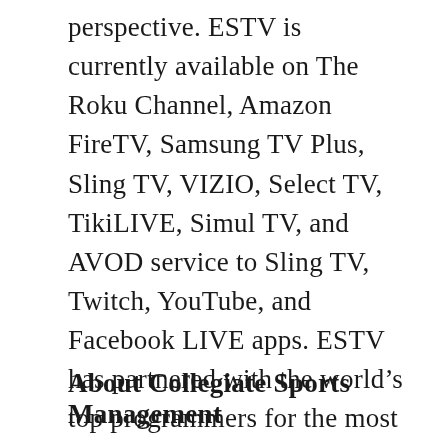perspective. ESTV is currently available on The Roku Channel, Amazon FireTV, Samsung TV Plus, Sling TV, VIZIO, Select TV, TikiLIVE, Simul TV, and AVOD service to Sling TV, Twitch, YouTube, and Facebook LIVE apps. ESTV has partnered with the world's top programmers for the most robust programming lineup available on terrestrial, cable, linear, online, and mobile.
About Collegiate Sports Management